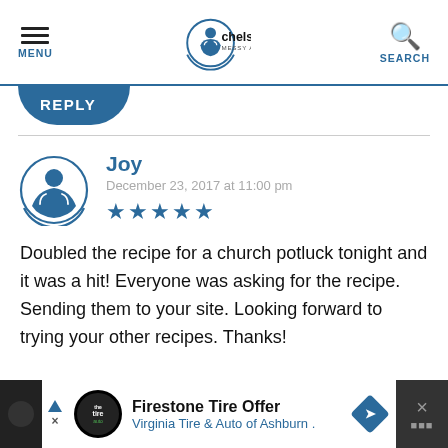MENU | chelsea's MESSY APRON® | SEARCH
REPLY
Joy
December 23, 2017 at 11:00 pm
★★★★★
Doubled the recipe for a church potluck tonight and it was a hit! Everyone was asking for the recipe. Sending them to your site. Looking forward to trying your other recipes. Thanks!
[Figure (screenshot): Advertisement bar at bottom: Firestone Tire Offer, Virginia Tire & Auto of Ashburn]